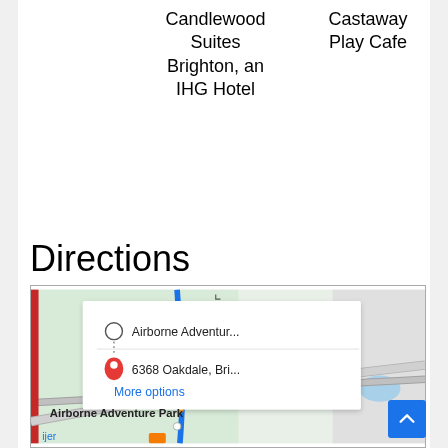Candlewood Suites Brighton, an IHG Hotel
Castaway Play Cafe
Directions
[Figure (screenshot): Google Maps directions UI showing route from Airborne Adventur... to 6368 Oakdale, Bri... with More options link. Map shows Airborne Adventure Park area with road overlays in blue, orange, and red.]